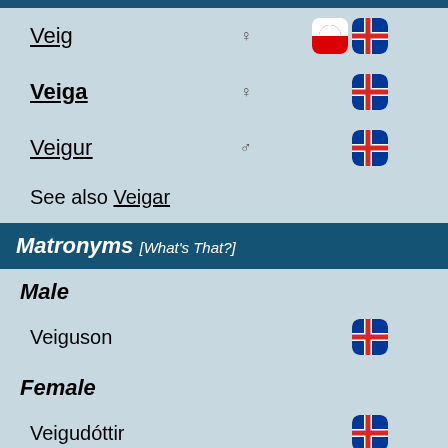Veig ♀ [Greenland flag] [Iceland flag]
Veiga ♀ [Iceland flag]
Veigur ♂ [Iceland flag]
See also Veigar
Matronyms [What's That?]
Male
Veiguson [Iceland flag]
Female
Veigudóttir [Iceland flag]